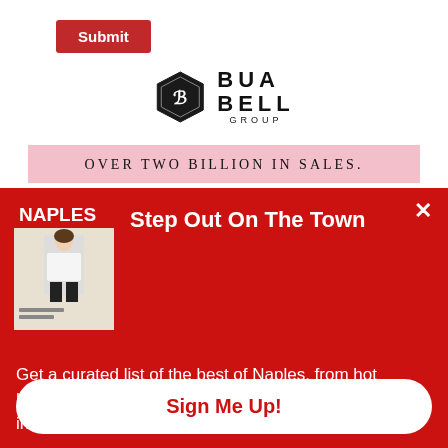[Figure (other): Red Submit button in top-left corner]
[Figure (logo): Bua Bell Group logo with hexagon icon and brand name]
OVER TWO BILLION IN SALES.
We are here to Help You!
Step Out On The Town
[Figure (photo): Naples magazine cover featuring a woman in white sweater and black pants]
Get a curated list of the best of Naples, from hot happenings to what's trending now, every week in your inbox. May we add you to our list?
Sign Me Up!